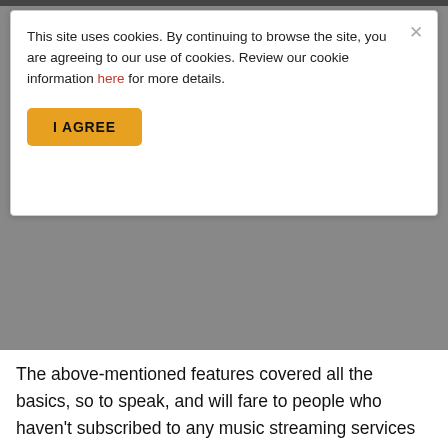This site uses cookies. By continuing to browse the site, you are agreeing to our use of cookies. Review our cookie information here for more details.
I AGREE
The above-mentioned features covered all the basics, so to speak, and will fare to people who haven't subscribed to any music streaming services yet. And if you already have a preferred music streaming service, lo and behold, YouTube Music's few tricks up its sleeves:
[Figure (screenshot): A partially visible embedded social media or article card with a circular avatar placeholder and two grey lines representing text/name placeholders.]